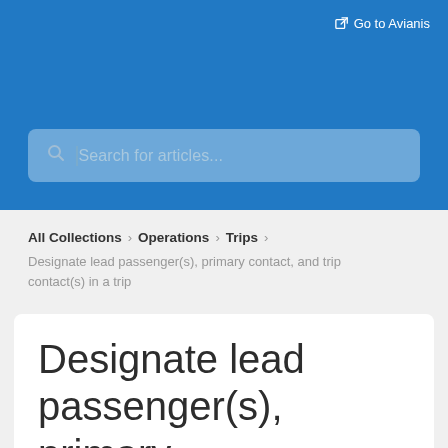Go to Avianis
[Figure (screenshot): Search bar with placeholder text 'Search for articles...' on blue background]
All Collections > Operations > Trips
Designate lead passenger(s), primary contact, and trip contact(s) in a trip
Designate lead passenger(s), primary contact, and trip